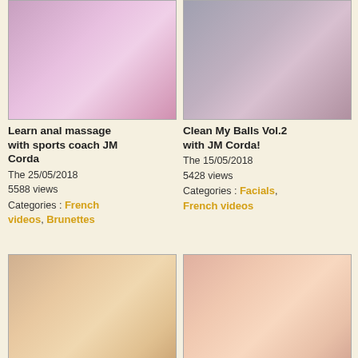[Figure (photo): Thumbnail image for 'Learn anal massage with sports coach JM Corda']
Learn anal massage with sports coach JM Corda
The 25/05/2018
5588 views
Categories : French videos, Brunettes
[Figure (photo): Thumbnail image for 'Clean My Balls Vol.2 with JM Corda!']
Clean My Balls Vol.2 with JM Corda!
The 15/05/2018
5428 views
Categories : Facials, French videos
[Figure (photo): Thumbnail image for 'HOT: Anal sex lesson by Jean-Marie Corda and Bamby Dee']
HOT: Anal sex lesson by Jean-Marie Corda and Bamby Dee
[Figure (photo): Thumbnail image for 'HOT: Practical course taken from JM Cordaro&#39;s lessons!']
HOT: Practical course taken from JM Cordaro&#39;s lessons!